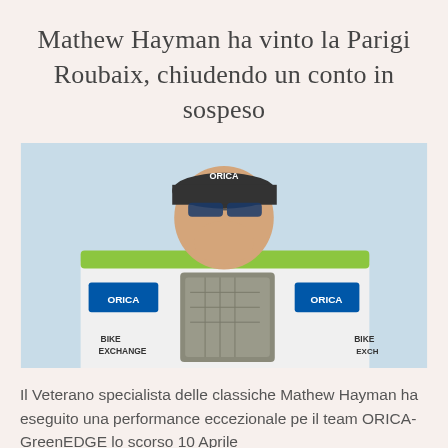Mathew Hayman ha vinto la Parigi Roubaix, chiudendo un conto in sospeso
[Figure (photo): Cyclist Mathew Hayman in an Orica GreenEdge / Bike Exchange jersey kissing a large cobblestone trophy, the traditional Paris-Roubaix winner's prize. Light blue sky background.]
Il Veterano specialista delle classiche Mathew Hayman ha eseguito una performance eccezionale per il team ORICA-GreenEDGE lo scorso 10 Aprile...